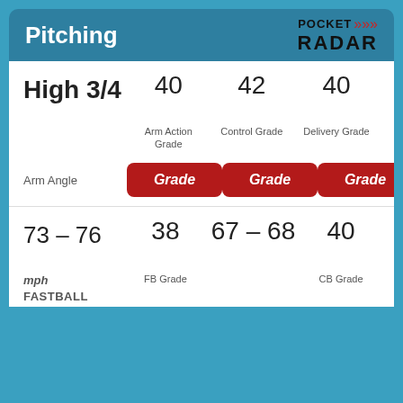Pitching
[Figure (logo): Pocket Radar logo with red signal waves]
High 3/4
40
42
40
Arm Action Grade
Control Grade
Delivery Grade
Arm Angle
Grade
Grade
Grade
73 - 76
38
67 - 68
40
mph FASTBALL
FB Grade
CB Grade